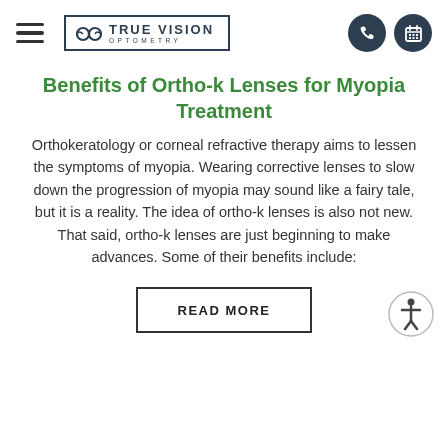TRUE VISION OPTOMETRY
Benefits of Ortho-k Lenses for Myopia Treatment
Orthokeratology or corneal refractive therapy aims to lessen the symptoms of myopia. Wearing corrective lenses to slow down the progression of myopia may sound like a fairy tale, but it is a reality. The idea of ortho-k lenses is also not new. That said, ortho-k lenses are just beginning to make advances. Some of their benefits include:
READ MORE